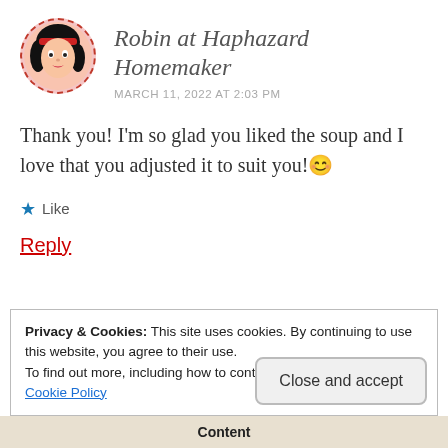Robin at Haphazard Homemaker
MARCH 11, 2022 AT 2:03 PM
Thank you! I'm so glad you liked the soup and I love that you adjusted it to suit you! 🙂
Like
Reply
Privacy & Cookies: This site uses cookies. By continuing to use this website, you agree to their use.
To find out more, including how to control cookies, see here:
Cookie Policy
Close and accept
Content